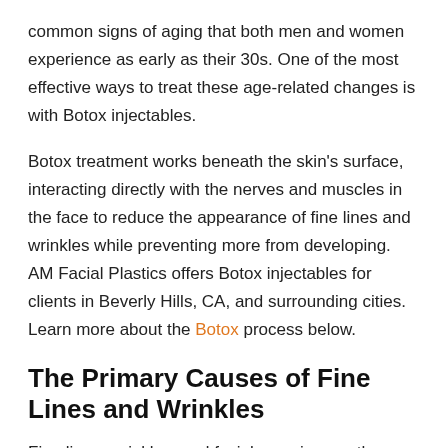common signs of aging that both men and women experience as early as their 30s. One of the most effective ways to treat these age-related changes is with Botox injectables.
Botox treatment works beneath the skin's surface, interacting directly with the nerves and muscles in the face to reduce the appearance of fine lines and wrinkles while preventing more from developing. AM Facial Plastics offers Botox injectables for clients in Beverly Hills, CA, and surrounding cities. Learn more about the Botox process below.
The Primary Causes of Fine Lines and Wrinkles
Fine lines, wrinkles, and facial creasing are the most common age-related changes that both men and women